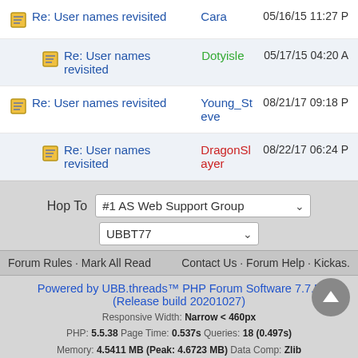Re: User names revisited — Cara — 05/16/15 11:27 P
Re: User names revisited — Dotyisle — 05/17/15 04:20 A
Re: User names revisited — Young_Steve — 08/21/17 09:18 P
Re: User names revisited — DragonSlayer — 08/22/17 06:24 P
Hop To  #1 AS Web Support Group
UBBT77
Forum Rules · Mark All Read    Contact Us · Forum Help · Kickas.
Powered by UBB.threads™ PHP Forum Software 7.7.5 (Release build 20201027)
Responsive Width: Narrow < 460px
PHP: 5.5.38 Page Time: 0.537s Queries: 18 (0.497s)
Memory: 4.5411 MB (Peak: 4.6723 MB) Data Comp: Zlib
Server Time: 2022-08-20 07:44:15 UTC
Valid HTML 5 and Valid CSS